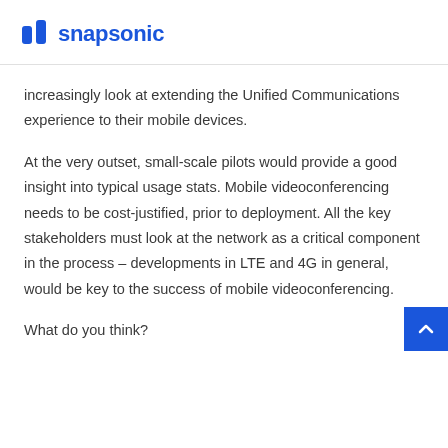snapsonic
increasingly look at extending the Unified Communications experience to their mobile devices.
At the very outset, small-scale pilots would provide a good insight into typical usage stats. Mobile videoconferencing needs to be cost-justified, prior to deployment. All the key stakeholders must look at the network as a critical component in the process – developments in LTE and 4G in general, would be key to the success of mobile videoconferencing.
What do you think?